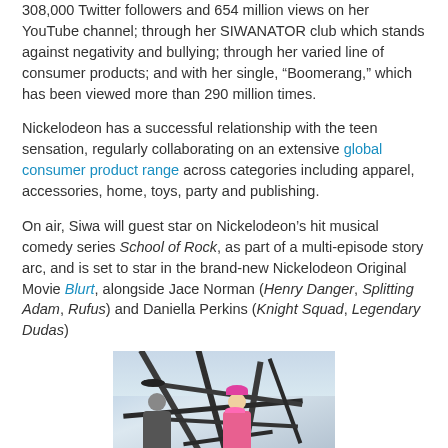308,000 Twitter followers and 654 million views on her YouTube channel; through her SIWANATOR club which stands against negativity and bullying; through her varied line of consumer products; and with her single, “Boomerang,” which has been viewed more than 290 million times.
Nickelodeon has a successful relationship with the teen sensation, regularly collaborating on an extensive global consumer product range across categories including apparel, accessories, home, toys, party and publishing.
On air, Siwa will guest star on Nickelodeon’s hit musical comedy series School of Rock, as part of a multi-episode story arc, and is set to star in the brand-new Nickelodeon Original Movie Blurt, alongside Jace Norman (Henry Danger, Splitting Adam, Rufus) and Daniella Perkins (Knight Squad, Legendary Dudas)
[Figure (photo): Photo of two people seated in what appears to be a ride or vehicle with dark metal bars/frame around them, inside a large indoor venue. One person on the right has bright pink hair.]